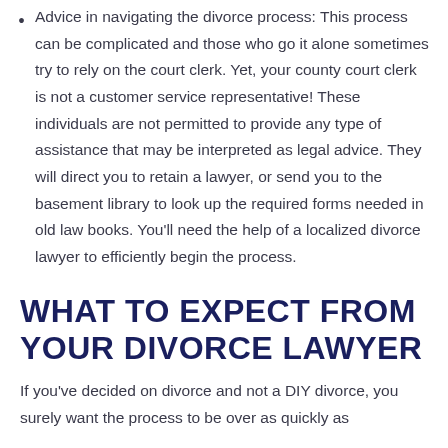Advice in navigating the divorce process: This process can be complicated and those who go it alone sometimes try to rely on the court clerk. Yet, your county court clerk is not a customer service representative! These individuals are not permitted to provide any type of assistance that may be interpreted as legal advice. They will direct you to retain a lawyer, or send you to the basement library to look up the required forms needed in old law books. You’ll need the help of a localized divorce lawyer to efficiently begin the process.
WHAT TO EXPECT FROM YOUR DIVORCE LAWYER
If you’ve decided on divorce and not a DIY divorce, you surely want the process to be over as quickly as